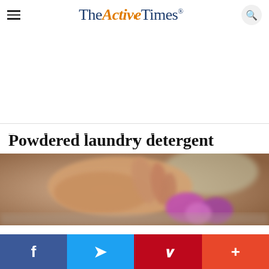TheActiveTimes
[Figure (photo): Blurred photo of a person's hands near purple/pink objects on a kitchen counter, representing powdered laundry detergent context]
Powdered laundry detergent
Social share bar: Facebook, Twitter, Pinterest, More